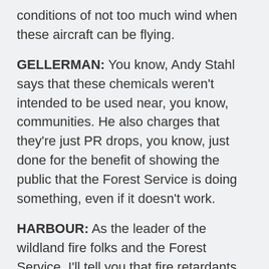conditions of not too much wind when these aircraft can be flying.
GELLERMAN: You know, Andy Stahl says that these chemicals weren't intended to be used near, you know, communities. He also charges that they're just PR drops, you know, just done for the benefit of showing the public that the Forest Service is doing something, even if it doesn't work.
HARBOUR: As the leader of the wildland fire folks and the Forest Service, I'll tell you that fire retardants can help with the ebb and flow of fire as they move. Fire retardants are especially effective because once the water evaporates from the mix they still have fire retardant qualities. We've used these chemicals safely for forty years and I hope we get to use them forty years into